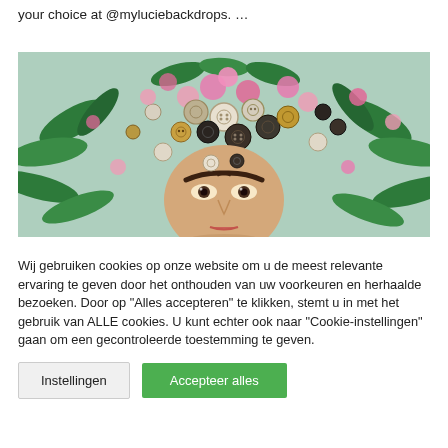your choice at @myluciebackdrops. …
[Figure (photo): Flat-lay creative photo of a Frida Kahlo-style face surrounded by buttons, pink flowers, and green leaves arranged as a headdress on a light blue background.]
Wij gebruiken cookies op onze website om u de meest relevante ervaring te geven door het onthouden van uw voorkeuren en herhaalde bezoeken. Door op "Alles accepteren" te klikken, stemt u in met het gebruik van ALLE cookies. U kunt echter ook naar "Cookie-instellingen" gaan om een gecontroleerde toestemming te geven.
Instellingen | Accepteer alles